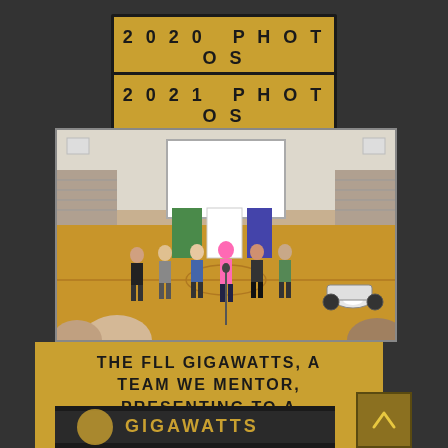2020 PHOTOS
2021 PHOTOS
[Figure (photo): Children and adults standing in a gymnasium, presenting at a community showcase event. A projection screen is visible in the background along with bleachers and a go-kart vehicle on the right side.]
THE FLL GIGAWATTS, A TEAM WE MENTOR, PRESENTING TO A COMMUNITY SHOWCASE.
[Figure (photo): Partial view of a banner or sign reading 'GIGAWATTS' with a logo, visible at the bottom of the page.]